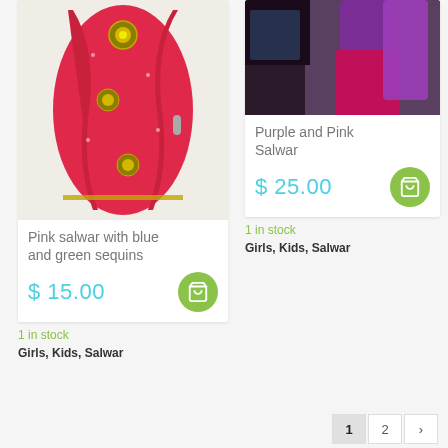[Figure (photo): Pink salwar kameez with blue and green sequin embroidery, hung on a door]
Pink salwar with blue and green sequins
$ 15.00
1 in stock
Girls, Kids, Salwar
[Figure (photo): Purple and pink salwar suit hanging on a clothing rack]
Purple and Pink Salwar
$ 25.00
1 in stock
Girls, Kids, Salwar